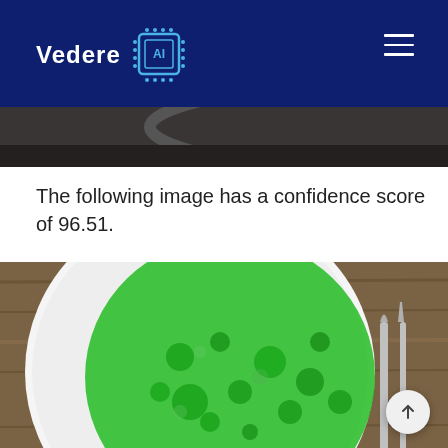[Figure (logo): Vedere AI logo on dark navy blue header bar with hamburger menu icon on right]
[Figure (photo): Cropped top portion of a dark plate/bowl on a dark background, partially visible]
The following image has a confidence score of 96.51.
[Figure (photo): Top-down view of a white plate with food (salad/pizza) on a wooden table, with a green semi-transparent overlay highlighting detected food items. Cutlery visible on the right side.]